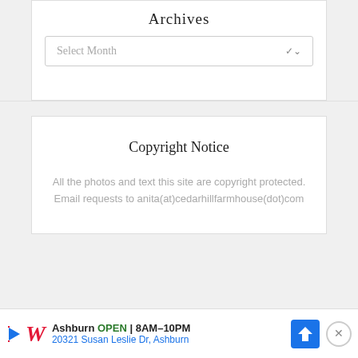Archives
[Figure (screenshot): Dropdown select box with placeholder text 'Select Month' and a chevron icon on the right]
Copyright Notice
All the photos and text this site are copyright protected. Email requests to anita(at)cedarhillfarmhouse(dot)com
[Figure (screenshot): Advertisement bar for Walgreens in Ashburn showing logo, OPEN 8AM-10PM, 20321 Susan Leslie Dr, Ashburn, with navigation icon and close button]